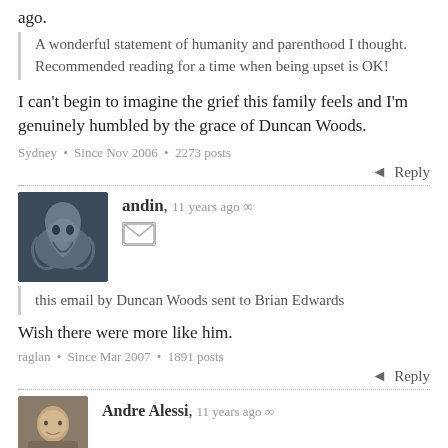ago.
A wonderful statement of humanity and parenthood I thought. Recommended reading for a time when being upset is OK!
I can't begin to imagine the grief this family feels and I'm genuinely humbled by the grace of Duncan Woods.
Sydney • Since Nov 2006 • 2273 posts
Reply
andin, 11 years ago ∞
this email by Duncan Woods sent to Brian Edwards
Wish there were more like him.
raglan • Since Mar 2007 • 1891 posts
Reply
Andre Alessi, 11 years ago ∞